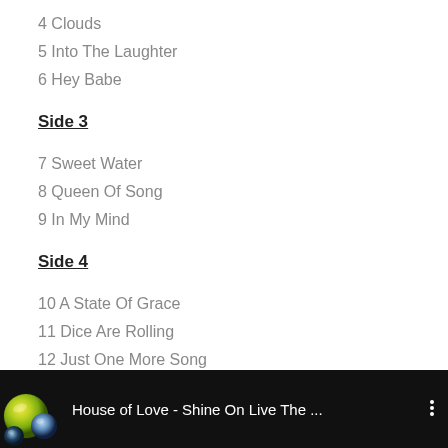4 Clouds
5 Into The Laughter
6 Hey Babe
Side 3
7 Sweet Water
8 Queen Of Song
9 In My Mind
Side 4
10 A State Of Grace
11 Dice Are Rolling
12 Just One More Song
[Figure (screenshot): Video player bar with marble/glass ball thumbnail, title 'House of Love - Shine On Live The ...' and a three-dot menu icon on a black background]